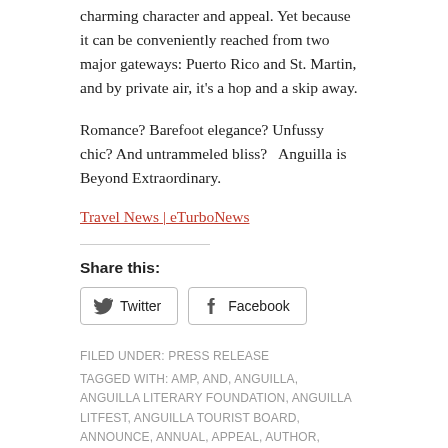charming character and appeal. Yet because it can be conveniently reached from two major gateways: Puerto Rico and St. Martin, and by private air, it's a hop and a skip away.
Romance? Barefoot elegance? Unfussy chic? And untrammeled bliss?   Anguilla is Beyond Extraordinary.
Travel News | eTurboNews
Share this:
Twitter
Facebook
FILED UNDER: PRESS RELEASE
TAGGED WITH: AMP, AND, ANGUILLA, ANGUILLA LITERARY FOUNDATION, ANGUILLA LITFEST, ANGUILLA TOURIST BOARD, ANNOUNCE, ANNUAL, APPEAL, AUTHOR, AWARD, BACKDROP, BEACHES, BEATEN, BEAUTIFUL, BEAUTY, BEST, BETTER, BILINGUAL, BISHOP, BLACK, BLOGGER, BOARD, BOOK, BOOKS, BREAKING TRAVEL NEWS, CARIBBEAN, CARIBBEAN